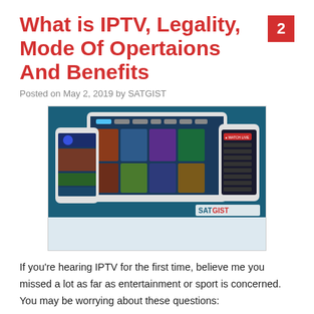What is IPTV, Legality, Mode Of Opertaions And Benefits
Posted on May 2, 2019 by SATGIST
[Figure (screenshot): Screenshot showing IPTV app interface on tablet and mobile phones with various TV show thumbnails and a SATGIST watermark]
If you're hearing IPTV for the first time, believe me you missed a lot as far as entertainment or sport is concerned. You may be worrying about these questions: